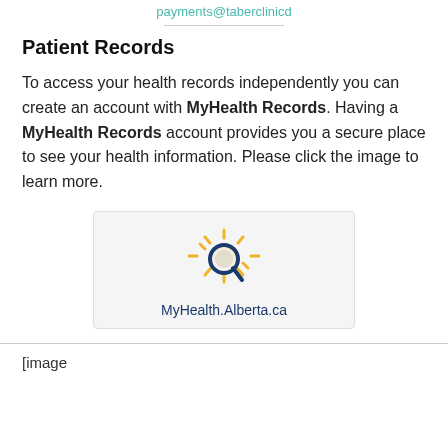payments@taberclinicd
Patient Records
To access your health records independently you can create an account with MyHealth Records. Having a MyHealth Records account provides you a secure place to see your health information. Please click the image to learn more.
[Figure (logo): MyHealth.Alberta.ca logo with a yellow sun-like icon and a blue magnifying glass]
[image